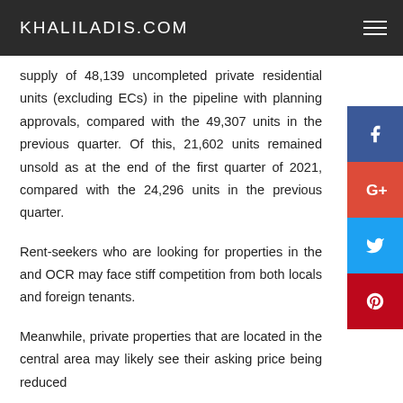KHALILADIS.COM
supply of 48,139 uncompleted private residential units (excluding ECs) in the pipeline with planning approvals, compared with the 49,307 units in the previous quarter. Of this, 21,602 units remained unsold as at the end of the first quarter of 2021, compared with the 24,296 units in the previous quarter.
Rent-seekers who are looking for properties in the and OCR may face stiff competition from both locals and foreign tenants.
Meanwhile, private properties that are located in the central area may likely see their asking price being reduced